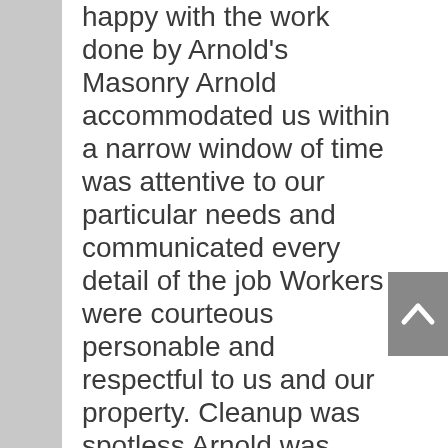happy with the work done by Arnold's Masonry Arnold accommodated us within a narrow window of time was attentive to our particular needs and communicated every detail of the job Workers were courteous personable and respectful to us and our property. Cleanup was spotless Arnold was willing to go the extra mile for us by improvising a unique stair step feature in our retaining wall. A nice artistic touch